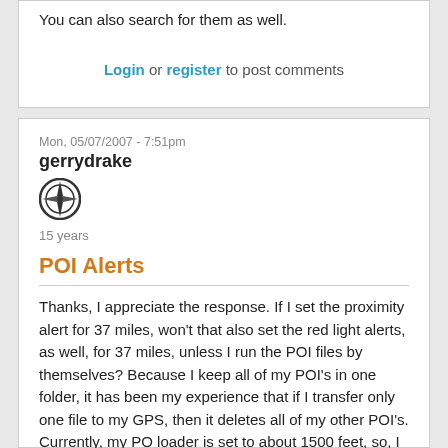You can also search for them as well.
Login or register to post comments
Mon, 05/07/2007 - 7:51pm
gerrydrake
[Figure (logo): GPS/navigation related circular logo icon]
15 years
POI Alerts
Thanks, I appreciate the response. If I set the proximity alert for 37 miles, won't that also set the red light alerts, as well, for 37 miles, unless I run the POI files by themselves? Because I keep all of my POI's in one folder, it has been my experience that if I transfer only one file to my GPS, then it deletes all of my other POI's. Currently, my PO loader is set to about 1500 feet, so, I get a proximity alert at about that distance when I approach a red light camera. Shall I assume then, that I will also get an alert at about 1500 feet when approaching a rest area?